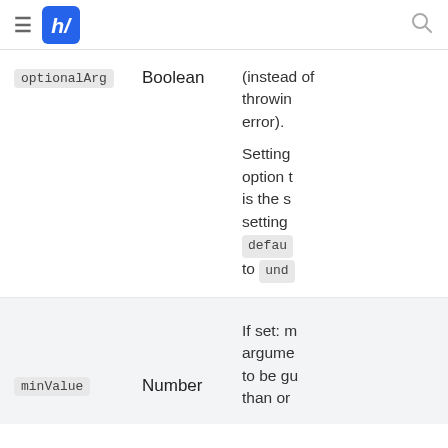hf (logo) [hamburger menu] [search]
| Name | Type | Description |
| --- | --- | --- |
| optionalArg | Boolean | (instead of throwing error). Setting option to is the same as setting default to undefined |
| minValue | Number | If set: make arguments to be greater than or... |